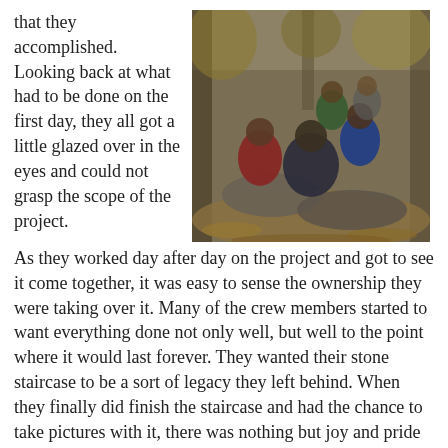that they accomplished. Looking back at what had to be done on the first day, they all got a little glazed over in the eyes and could not grasp the scope of the project.
[Figure (photo): Group of students posing on a rocky forest trail surrounded by fallen autumn leaves and trees.]
As they worked day after day on the project and got to see it come together, it was easy to sense the ownership they were taking over it. Many of the crew members started to want everything done not only well, but well to the point where it would last forever. They wanted their stone staircase to be a sort of legacy they left behind. When they finally did finish the staircase and had the chance to take pictures with it, there was nothing but joy and pride to be seen on their faces.